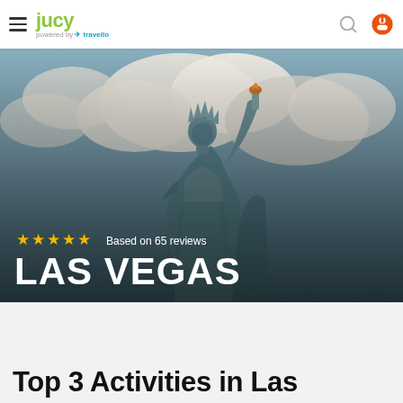JUCY | Powered by travello
[Figure (photo): Statue of Liberty against a dramatic cloudy sky, used as a hero banner image for a Las Vegas travel page]
★★★★★ Based on 65 reviews
LAS VEGAS
Top 3 Activities in Las